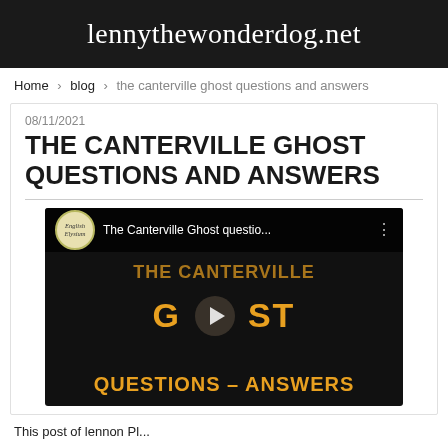lennythewonderdog.net
Home › blog › the canterville ghost questions and answers
08/11/2021
THE CANTERVILLE GHOST QUESTIONS AND ANSWERS
[Figure (screenshot): YouTube video thumbnail for 'The Canterville Ghost questio...' by English Elysium channel, showing orange bold text 'THE CANTERVILLE GHOST', 'G H O S T', 'QUESTIONS - ANSWERS' on a black background with a play button in the center.]
This post of lennon Pl...